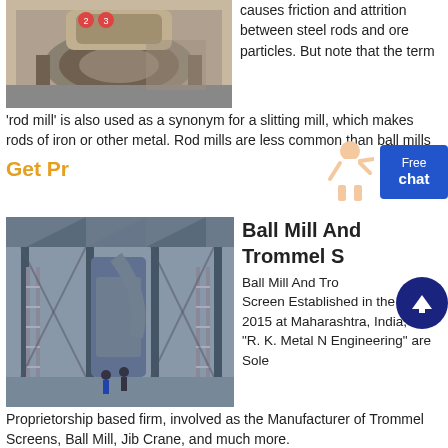[Figure (photo): Photo of a rod mill machine, circular grinding equipment in an industrial setting]
causes friction and attrition between steel rods and ore particles. But note that the term 'rod mill' is also used as a synonym for a slitting mill, which makes rods of iron or other metal. Rod mills are less common than ball mills
Get Pr...
[Figure (illustration): Illustration of a customer service representative woman]
[Figure (other): Free chat button - blue button with text Free chat]
[Figure (photo): Photo of a Ball Mill and Trommel Screen industrial facility interior showing large industrial equipment, steel framework, ladders, and workers on the floor]
Ball Mill And Trommel Screen
Ball Mill And Trommel Screen Established in the year 2015 at Maharashtra, India, we "R. K. Metal N Engineering" are Sole Proprietorship based firm, involved as the Manufacturer of Trommel Screens, Ball Mill, Jib Crane, and much more.
Get Pric...